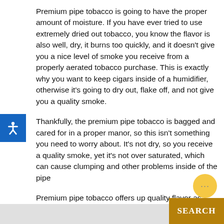Premium pipe tobacco is going to have the proper amount of moisture. If you have ever tried to use extremely dried out tobacco, you know the flavor is also well, dry, it burns too quickly, and it doesn't give you a nice level of smoke you receive from a properly aerated tobacco purchase. This is exactly why you want to keep cigars inside of a humidifier, otherwise it's going to dry out, flake off, and not give you a quality smoke.
Thankfully, the premium pipe tobacco is bagged and cared for in a proper manor, so this isn't something you need to worry about. It's not dry, so you receive a quality smoke, yet it's not over saturated, which can cause clumping and other problems inside of the pipe
Premium pipe tobacco offers up quality flavor as well. The tobacco is kept from coming in contact with air while it sits on the store shelves. This way, the flavor of the tobacco is there and ready for you to enjoy. Other, inferior kinds of tobacco are just stale and